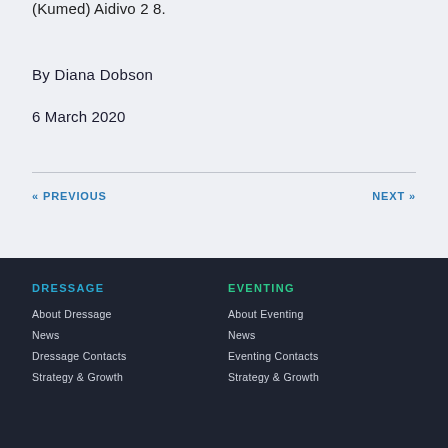(Kumed) Aidivo 2 8.
By Diana Dobson
6 March 2020
« PREVIOUS
NEXT »
DRESSAGE
About Dressage
News
Dressage Contacts
Strategy & Growth
EVENTING
About Eventing
News
Eventing Contacts
Strategy & Growth